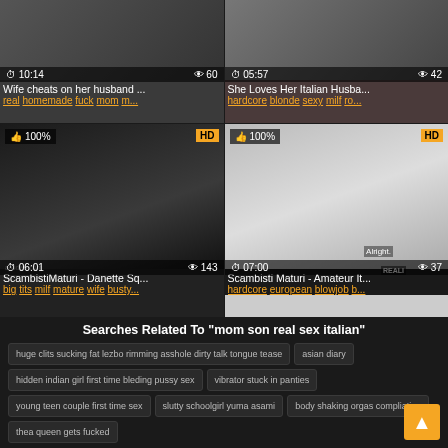[Figure (screenshot): Video thumbnail top-left: wife cheats video, duration 10:14, 60 views]
Wife cheats on her husband ...
real homemade fuck mom m...
[Figure (screenshot): Video thumbnail top-right: Italian husband video, duration 05:57, 42 views]
She Loves Her Italian Husba...
hardcore blonde sexy milf ro...
[Figure (screenshot): Video thumbnail bottom-left: ScambistiMaturi Danette, HD, 100%, duration 06:01, 143 views]
ScambistiMaturi - Danette Sq...
big tits milf mature wife busty...
[Figure (screenshot): Video thumbnail bottom-right: Scambisti Maturi Amateur, HD, 100%, duration 07:00, 37 views]
Scambisti Maturi - Amateur It...
hardcore european blowjob b...
Searches Related To "mom son real sex italian"
huge clits sucking fat lezbo rimming asshole dirty talk tongue tease
asian diary
hidden indian girl first time bleding pussy sex
vibrator stuck in panties
young teen couple first time sex
slutty schoolgirl yuma asami
body shaking orgas compliation
thea queen gets fucked